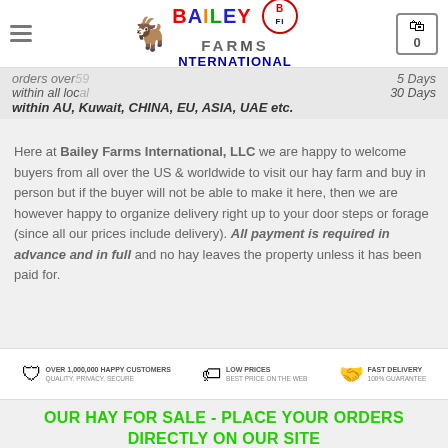Bailey Farms International, LLC - Logo and navigation
orders over... 5 Days within all loc... 30 Days within AU, Kuwait, China, EU, Asia, UAE etc.
Here at Bailey Farms International, LLC we are happy to welcome buyers from all over the US & worldwide to visit our hay farm and buy in person but if the buyer will not be able to make it here, then we are however happy to organize delivery right up to your door steps or forage (since all our prices include delivery). All payment is required in advance and in full and no hay leaves the property unless it has been paid for.
[Figure (infographic): Three trust badges: Over 1,000,000 happy customers (Quality, Privacy, Secure), Low Prices (Best Price on the Web), Fast Delivery (100% Guarantee)]
OUR HAY FOR SALE - PLACE YOUR ORDERS DIRECTLY ON OUR SITE